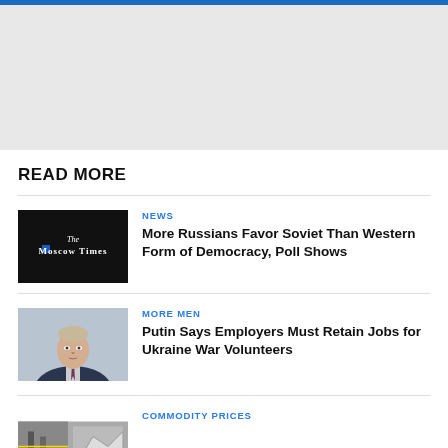[Figure (screenshot): Blue navigation bar at top of webpage]
[Figure (screenshot): Gray advertisement or banner placeholder area]
READ MORE
[Figure (logo): The Moscow Times logo on black background]
NEWS
More Russians Favor Soviet Than Western Form of Democracy, Poll Shows
[Figure (photo): Photo of Vladimir Putin in a dark suit]
MORE MEN
Putin Says Employers Must Retain Jobs for Ukraine War Volunteers
[Figure (photo): Partial photo related to commodity prices article]
COMMODITY PRICES